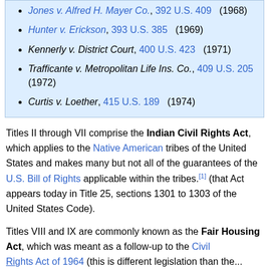Jones v. Alfred H. Mayer Co., 392 U.S. 409 (1968)
Hunter v. Erickson, 393 U.S. 385 (1969)
Kennerly v. District Court, 400 U.S. 423 (1971)
Trafficante v. Metropolitan Life Ins. Co., 409 U.S. 205 (1972)
Curtis v. Loether, 415 U.S. 189 (1974)
Titles II through VII comprise the Indian Civil Rights Act, which applies to the Native American tribes of the United States and makes many but not all of the guarantees of the U.S. Bill of Rights applicable within the tribes.[1] (that Act appears today in Title 25, sections 1301 to 1303 of the United States Code).
Titles VIII and IX are commonly known as the Fair Housing Act, which was meant as a follow-up to the Civil Rights Act of 1964 (this is different legislation than the...